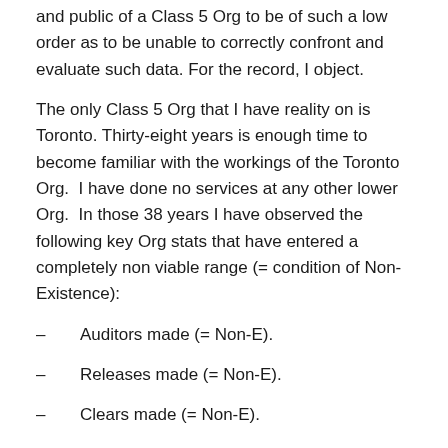and public of a Class 5 Org to be of such a low order as to be unable to correctly confront and evaluate such data. For the record, I object.
The only Class 5 Org that I have reality on is Toronto. Thirty-eight years is enough time to become familiar with the workings of the Toronto Org. I have done no services at any other lower Org. In those 38 years I have observed the following key Org stats that have entered a completely non viable range (= condition of Non-Existence):
Auditors made (= Non-E).
Releases made (= Non-E).
Clears made (= Non-E).
New public starts (= Non-E).